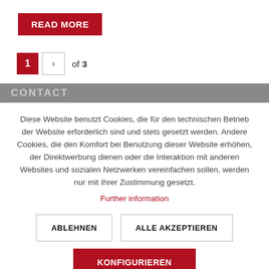READ MORE
1 > of 3
CONTACT
Diese Website benutzt Cookies, die für den technischen Betrieb der Website erforderlich sind und stets gesetzt werden. Andere Cookies, die den Komfort bei Benutzung dieser Website erhöhen, der Direktwerbung dienen oder die Interaktion mit anderen Websites und sozialen Netzwerken vereinfachen sollen, werden nur mit Ihrer Zustimmung gesetzt.
Further information
ABLEHNEN
ALLE AKZEPTIEREN
KONFIGURIEREN